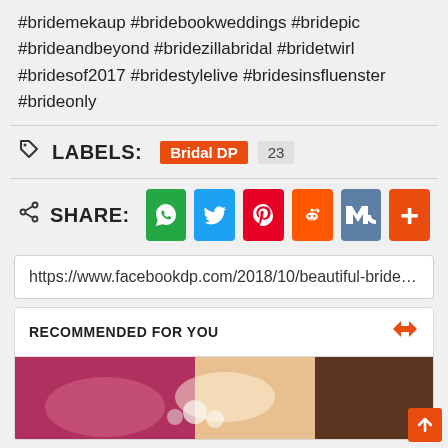#bridemekaup #bridebookweddings #bridepic #brideandbeyond #bridezillabridal #bridetwirl #bridesof2017 #bridestylelive #bridesinsfluenster #brideonly
LABELS: Bridal DP 23
[Figure (infographic): Share buttons row: WhatsApp (green), Twitter (blue), Pinterest (red), Reddit (orange), VK (steel blue), More (orange-red)]
https://www.facebookdp.com/2018/10/beautiful-bride-with
RECOMMENDED FOR YOU
[Figure (photo): Photo of a bride in red/pink outfit with white flowers and henna, partially cropped]